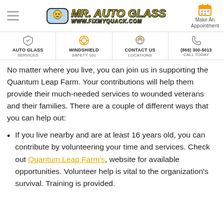[Figure (logo): Mr. Auto Glass logo with cartoon character holding a windshield, www.fixmyquack.com]
[Figure (infographic): Website navigation bar with Auto Glass Services, Windshield Safety 101, Contact Us Locations, and phone number (866) 300-5013 Call Today]
No matter where you live, you can join us in supporting the Quantum Leap Farm. Your contributions will help them provide their much-needed services to wounded veterans and their families. There are a couple of different ways that you can help out:
If you live nearby and are at least 16 years old, you can contribute by volunteering your time and services. Check out Quantum Leap Farm's, website for available opportunities. Volunteer help is vital to the organization's survival. Training is provided.